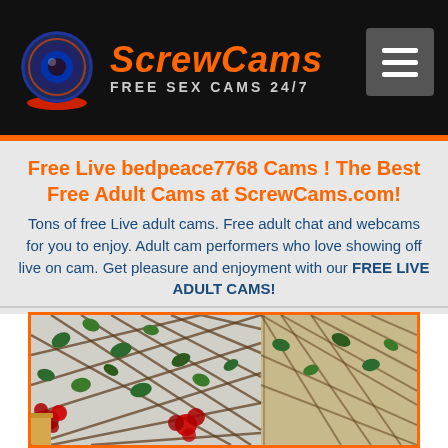ScrewCams FREE SEX CAMS 24/7
Free Live bedpeace7768 Cams ! The Best Free Adult Cams at ScrewCams.com!
Tons of free Live adult cams. Free adult chat and webcams for you to enjoy. Adult cam performers who love showing off live on cam. Get pleasure and enjoyment with our FREE LIVE ADULT CAMS!
[Figure (photo): Photo of a trellis with ivy and red flowers against a white wall with a wooden panel on the right side]